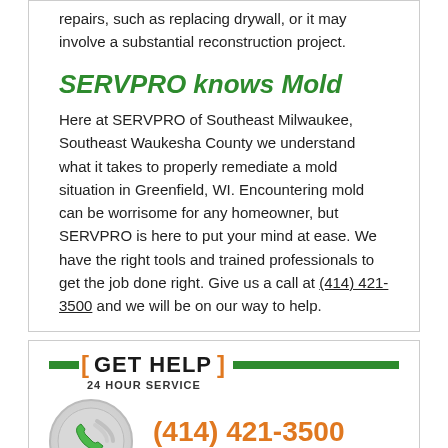repairs, such as replacing drywall, or it may involve a substantial reconstruction project.
SERVPRO knows Mold
Here at SERVPRO of Southeast Milwaukee, Southeast Waukesha County we understand what it takes to properly remediate a mold situation in Greenfield, WI. Encountering mold can be worrisome for any homeowner, but SERVPRO is here to put your mind at ease. We have the right tools and trained professionals to get the job done right. Give us a call at (414) 421-3500 and we will be on our way to help.
[ GET HELP ] 24 HOUR SERVICE
[Figure (illustration): Green phone icon in a light gray circle with wifi/signal arc symbols]
(414) 421-3500 CALL NOW
[Figure (illustration): Green square/rectangle graphic]
REQUEST HELP